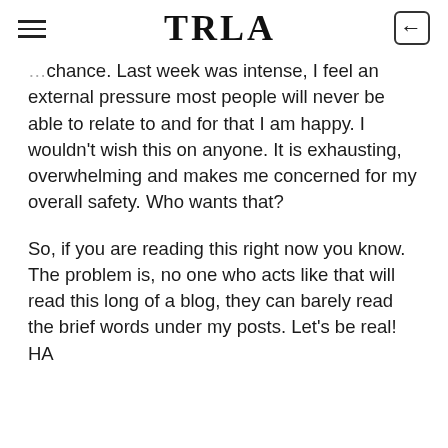TRLA
chance. Last week was intense, I feel an external pressure most people will never be able to relate to and for that I am happy. I wouldn't wish this on anyone. It is exhausting, overwhelming and makes me concerned for my overall safety. Who wants that?
So, if you are reading this right now you know. The problem is, no one who acts like that will read this long of a blog, they can barely read the brief words under my posts. Let's be real! HA